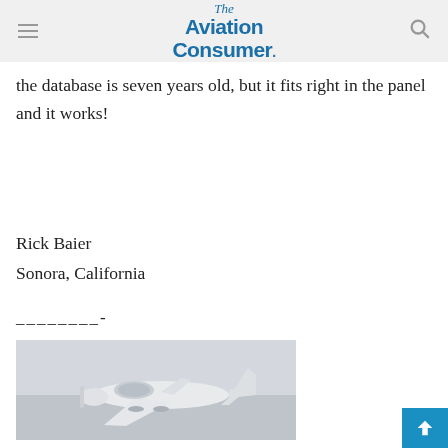The Aviation Consumer
the database is seven years old, but it fits right in the panel and it works!
Rick Baier
Sonora, California
________-
[Figure (photo): A small white general aviation aircraft (appears to be a Piper Cherokee or similar) parked inside a hangar, photographed from the front-left angle. The aircraft is white with no visible markings.]